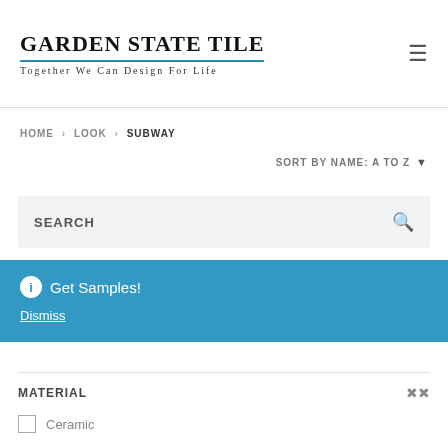GARDEN STATE TILE — Together We Can Design For Life
HOME › LOOK › SUBWAY
SORT BY NAME: A TO Z
SEARCH
ⓘ Get Samples!
Dismiss
MATERIAL
Ceramic